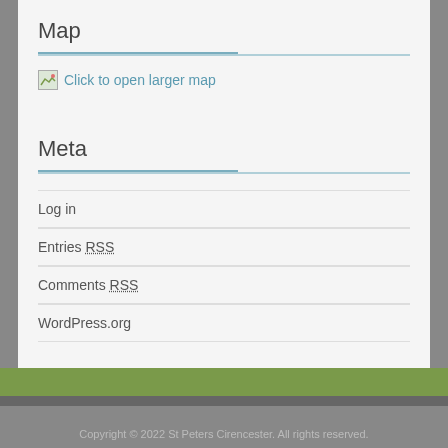Map
[Figure (other): Broken image icon with text 'Click to open larger map']
Meta
Log in
Entries RSS
Comments RSS
WordPress.org
Copyright © 2022 St Peters Cirencester. All rights reserved.